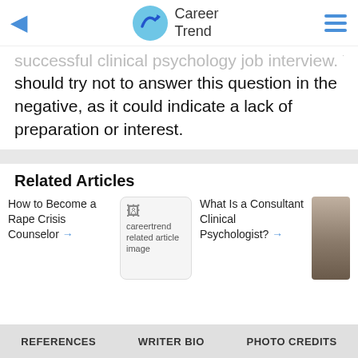Career Trend
successful clinical psychology job interview. You should try not to answer this question in the negative, as it could indicate a lack of preparation or interest.
Related Articles
How to Become a Rape Crisis Counselor →
[Figure (illustration): careertrend related article image placeholder]
What Is a Consultant Clinical Psychologist? →
[Figure (photo): Photo thumbnail of a book or document]
REFERENCES   WRITER BIO   PHOTO CREDITS